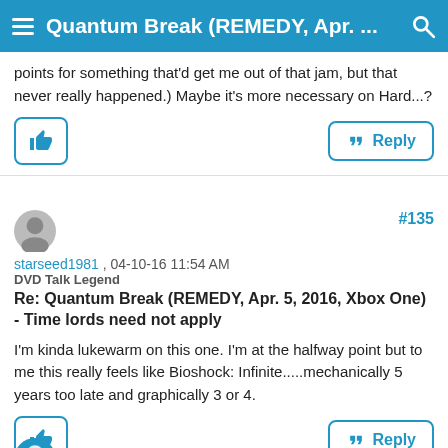Quantum Break (REMEDY, Apr. ... [Search]
points for something that'd get me out of that jam, but that never really happened.) Maybe it's more necessary on Hard...?
#135
starseed1981 , 04-10-16 11:54 AM
DVD Talk Legend
Re: Quantum Break (REMEDY, Apr. 5, 2016, Xbox One) - Time lords need not apply
I'm kinda lukewarm on this one. I'm at the halfway point but to me this really feels like Bioshock: Infinite.....mechanically 5 years too late and graphically 3 or 4.